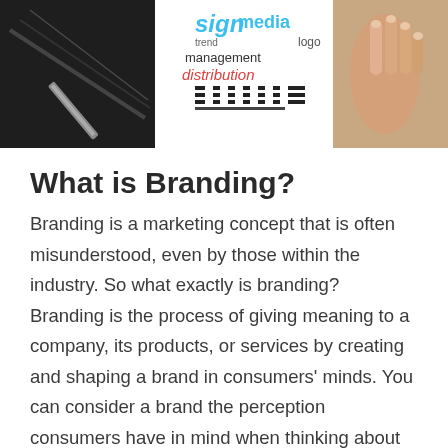[Figure (photo): Header image showing branding-related visual: dark area with pen/marker on the left, white center area with branding words (sign, media, trend, management, logo, distribution) in colorful typography with zebra stripe decoration, and a hand/fingers on the right side.]
What is Branding?
Branding is a marketing concept that is often misunderstood, even by those within the industry. So what exactly is branding? Branding is the process of giving meaning to a company, its products, or services by creating and shaping a brand in consumers' minds. You can consider a brand the perception consumers have in mind when thinking about specific